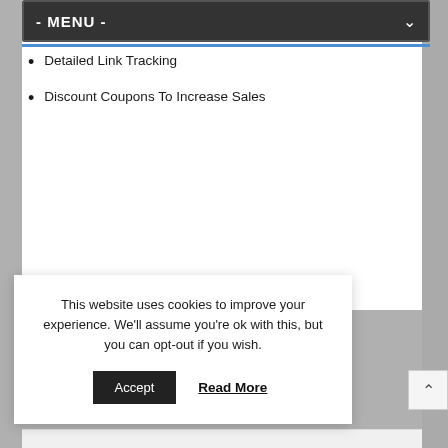- MENU -
Detailed Link Tracking
Discount Coupons To Increase Sales
This website uses cookies to improve your experience. We'll assume you're ok with this, but you can opt-out if you wish.
Accept   Read More